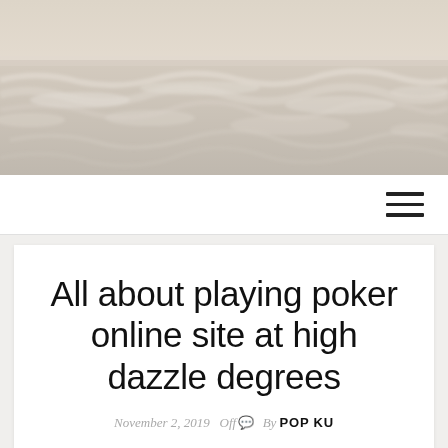[Figure (photo): Sepia-toned photograph of ocean waves with foam and water, used as website header background image]
[Figure (other): Hamburger menu icon (three horizontal black lines) in the top navigation bar]
All about playing poker online site at high dazzle degrees
November 2, 2019   Off   By POP KU